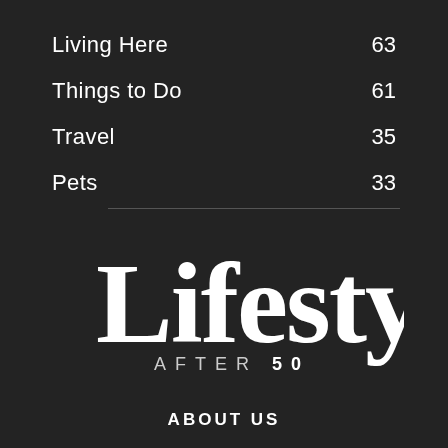Living Here  63
Things to Do  61
Travel  35
Pets  33
[Figure (logo): Lifestyles After 50 magazine logo in white serif font on dark background]
ABOUT US